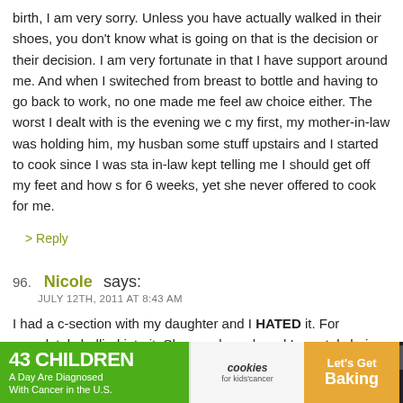birth, I am very sorry. Unless you have actually walked in their shoes, you don't know what is going on that is the decision or their decision. I am very fortunate in that I have support around me. And when I switeched from breast to bottle and having to go back to work, no one made me feel aw choice either. The worst I dealt with is the evening we c my first, my mother-in-law was holding him, my husban some stuff upstairs and I started to cook since I was sta in-law kept telling me I should get off my feet and how s for 6 weeks, yet she never offered to cook for me.
> Reply
96. Nicole says:
JULY 12TH, 2011 AT 8:43 AM
I had a c-section with my daughter and I HATED it. For completely bullied into it. She was breech and I was tol choice but to be c-sectioned. Had I delivered with a mic Canada/England/Australia, I would have been able to d but not with an OB in the USA. I have a really low toler
[Figure (infographic): Advertisement banner: '43 CHILDREN A Day Are Diagnosed With Cancer in the U.S.' with cookies for kids' cancer logo and 'Let's Get Baking' text on orange background.]